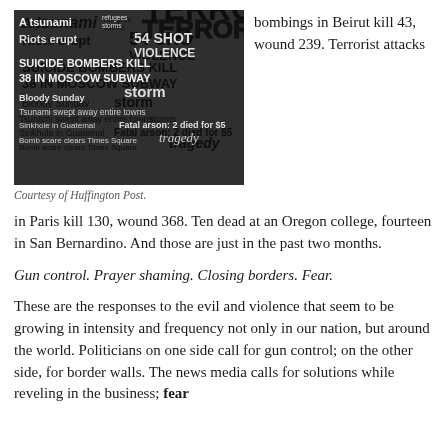[Figure (photo): Black and white collage of newspaper headlines about terrorism, violence, natural disasters including words like TERROR, SUICIDE BOMBERS KILL 38 IN MOSCOW SUBWAY, Riots erupt, A tsunami, storm, tragedy, Fatal arson, etc.]
Courtesy of Huffington Post.
bombings in Beirut kill 43, wound 239. Terrorist attacks in Paris kill 130, wound 368. Ten dead at an Oregon college, fourteen in San Bernardino. And those are just in the past two months.
Gun control. Prayer shaming. Closing borders. Fear.
These are the responses to the evil and violence that seem to be growing in intensity and frequency not only in our nation, but around the world. Politicians on one side call for gun control; on the other side, for border walls. The news media calls for solutions while reveling in the business; fear